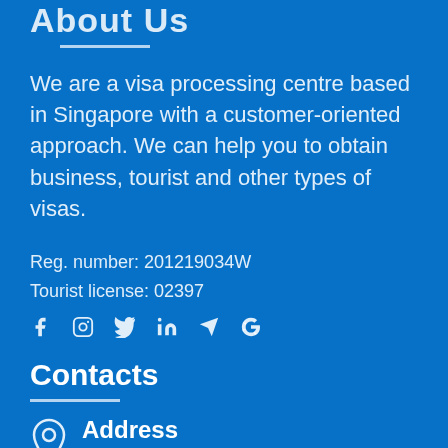About Us
We are a visa processing centre based in Singapore with a customer-oriented approach. We can help you to obtain business, tourist and other types of visas.
Reg. number: 201219034W
Tourist license: 02397
[Figure (other): Social media icons: Facebook, Instagram, Twitter, LinkedIn, Telegram, Google]
Contacts
[Figure (other): Location pin icon next to Address section]
Address
20 Upper Circular Road, #B1-25